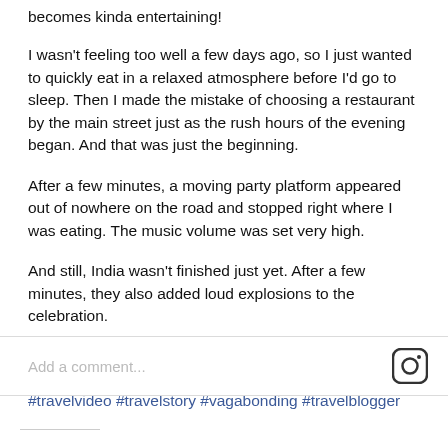becomes kinda entertaining!
I wasn't feeling too well a few days ago, so I just wanted to quickly eat in a relaxed atmosphere before I'd go to sleep. Then I made the mistake of choosing a restaurant by the main street just as the rush hours of the evening began. And that was just the beginning.
After a few minutes, a moving party platform appeared out of nowhere on the road and stopped right where I was eating. The music volume was set very high.
And still, India wasn't finished just yet. After a few minutes, they also added loud explosions to the celebration.
#Surat #Gujarat #India #visitindia #party #whatisamovingpartyplatform #traffic #noise #travel #travelvideo #travelstory #vagabonding #travelblogger #traveller #wanderlust #aroundtheworld
view all comments
Add a comment...